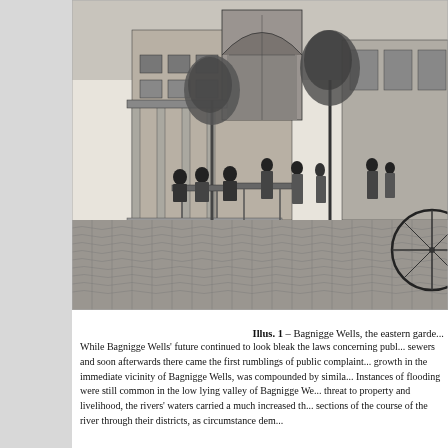[Figure (illustration): Black and white engraving of Bagnigge Wells, showing the eastern garden. People are seated at tables and walking around an outdoor area with trees, a building with an arched entrance, and a cobblestone foreground.]
Illus. 1 – Bagnigge Wells, the eastern garde...
While Bagnigge Wells' future continued to look bleak the laws concerning publ... sewers and soon afterwards there came the first rumblings of public complaint... growth in the immediate vicinity of Bagnigge Wells, was compounded by simila... Instances of flooding were still common in the low lying valley of Bagnigge We... threat to property and livelihood, the rivers' waters carried a much increased th... sections of the course of the river through their districts, as circumstance dem...